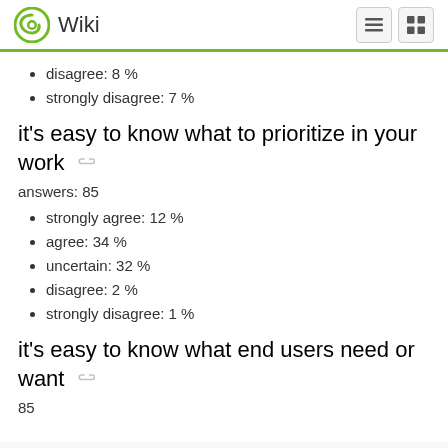Wiki
disagree: 8 %
strongly disagree: 7 %
it's easy to know what to prioritize in your work
answers: 85
strongly agree: 12  %
agree: 34 %
uncertain: 32 %
disagree: 2 %
strongly disagree: 1 %
it's easy to know what end users need or want
85